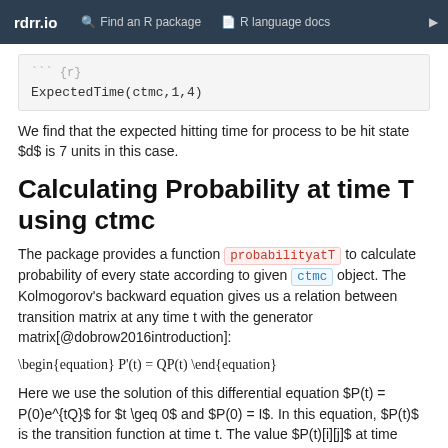rdrr.io   Find an R package   R language docs
``` {r}
ExpectedTime(ctmc,1,4)
We find that the expected hitting time for process to be hit state $d$ is 7 units in this case.
Calculating Probability at time T using ctmc
The package provides a function probabilityatT to calculate probability of every state according to given ctmc object. The Kolmogorov's backward equation gives us a relation between transition matrix at any time t with the generator matrix[@dobrow2016introduction]:
Here we use the solution of this differential equation $P(t) = P(0)e^{tQ}$ for $t \geq 0$ and $P(0) = I$. In this equation, $P(t)$ is the transition function at time t. The value $P(t)[i][j]$ at time